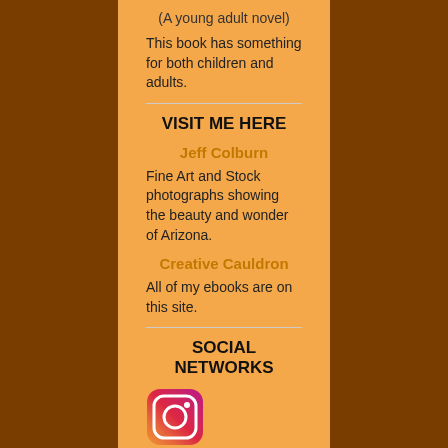(A young adult novel)
This book has something for both children and adults.
VISIT ME HERE
Jeff Colburn
Fine Art and Stock photographs showing the beauty and wonder of Arizona.
Creative Cauldron
All of my ebooks are on this site.
SOCIAL NETWORKS
[Figure (logo): Instagram logo icon]
[Figure (logo): Facebook logo icon]